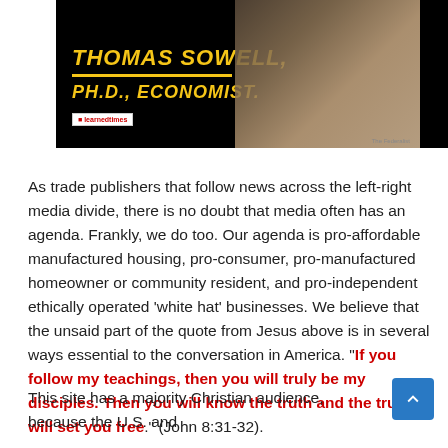[Figure (photo): Black background promotional image with text 'THOMAS SOWELL, PH.D., ECONOMIST.' in yellow italic bold font with yellow underline, a logo box in bottom left, and a photo of a man in a tan coat with red tie on the right side]
As trade publishers that follow news across the left-right media divide, there is no doubt that media often has an agenda. Frankly, we do too. Our agenda is pro-affordable manufactured housing, pro-consumer, pro-manufactured homeowner or community resident, and pro-independent ethically operated ‘white hat’ businesses. We believe that the unsaid part of the quote from Jesus above is in several ways essential to the conversation in America. “If you follow my teachings, then you will truly be my disciples. Then you will know the truth and the truth will set you free.” (John 8:31-32).
This site has a majority Christian audience, because the U.S. and